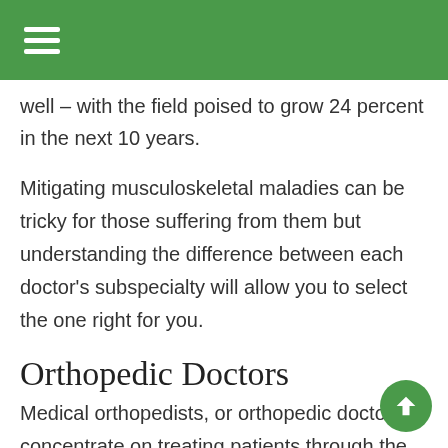well – with the field poised to grow 24 percent in the next 10 years.
Mitigating musculoskeletal maladies can be tricky for those suffering from them but understanding the difference between each doctor's subspecialty will allow you to select the one right for you.
Orthopedic Doctors
Medical orthopedists, or orthopedic doctors, concentrate on treating patients through the use of noninvasive or